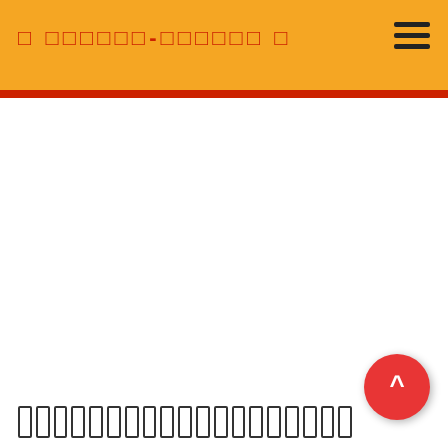□ □□□□□□-□□□□□□ □
[Figure (other): Hamburger menu icon (three horizontal lines) in top right of orange header]
[Figure (other): Large white blank content area]
□□□□□□□□□□□□□□□□□□□□□□□□
[Figure (other): Red circular floating action button with upward caret/arrow symbol]